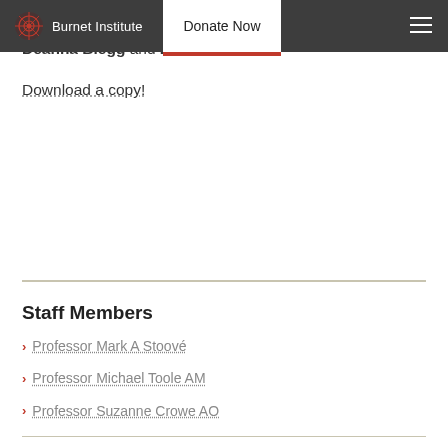Burnet Institute | Donate Now
hear from two Burnet supporters, our HIV Ambassador Deanna Blegg and Paul Collins.
Download a copy!
Staff Members
Professor Mark A Stoové
Professor Michael Toole AM
Professor Suzanne Crowe AO